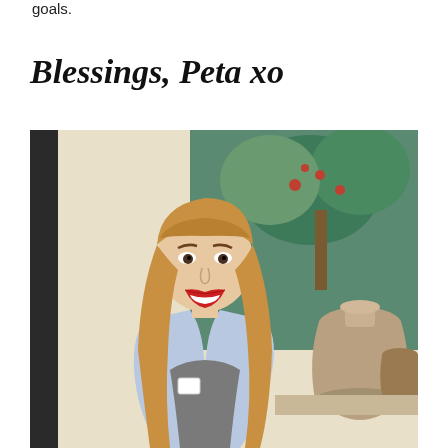goals.
Blessings, Peta xo
[Figure (photo): A smiling young woman with long reddish-blonde hair and red lipstick, wearing a grey top and light blue jacket, standing in front of a painting depicting vases and trees.]